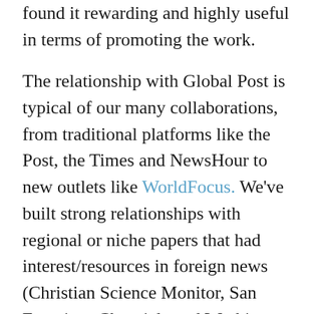found it rewarding and highly useful in terms of promoting the work.
The relationship with Global Post is typical of our many collaborations, from traditional platforms like the Post, the Times and NewsHour to new outlets like WorldFocus. We've built strong relationships with regional or niche papers that had interest/resources in foreign news (Christian Science Monitor, San Francisco Chronicle and Washington Times), putting us in position to help less established writers/producers get outlets and income. We've also worked hard on the magazine front, from big outlets like Time and Newsweek (online and print) to specialty mags like Mother Jones,